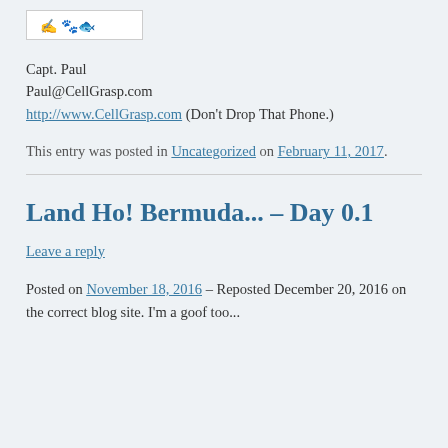[Figure (illustration): A small sketch/logo image in a white bordered box]
Capt. Paul
Paul@CellGrasp.com
http://www.CellGrasp.com (Don't Drop That Phone.)
This entry was posted in Uncategorized on February 11, 2017.
Land Ho! Bermuda... – Day 0.1
Leave a reply
Posted on November 18, 2016 – Reposted December 20, 2016 on the correct blog site. I'm a goof too...